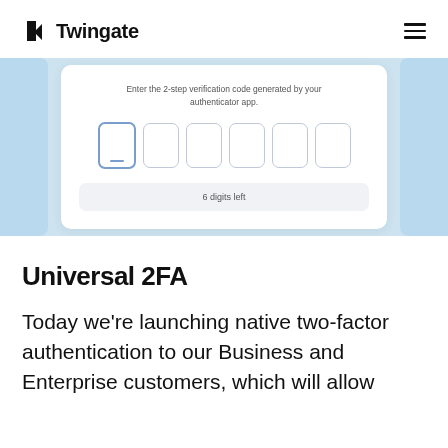Twingate
[Figure (screenshot): A UI screenshot showing a 2-step verification code entry screen with 6 digit input boxes and a '6 digits left' button, on a light blue background.]
Universal 2FA
Today we're launching native two-factor authentication to our Business and Enterprise customers, which will allow